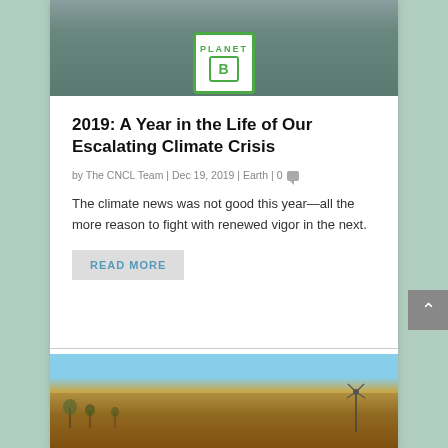[Figure (photo): Protest sign with 'PLANET B' text in green on white background, with green border, held at a climate rally]
2019: A Year in the Life of Our Escalating Climate Crisis
by The CNCL Team | Dec 19, 2019 | Earth | 0
The climate news was not good this year—all the more reason to fight with renewed vigor in the next.
READ MORE
[Figure (photo): Dry arid Australian outback landscape with sparse scrubby trees on a hillside and a windmill in the background under blue sky]